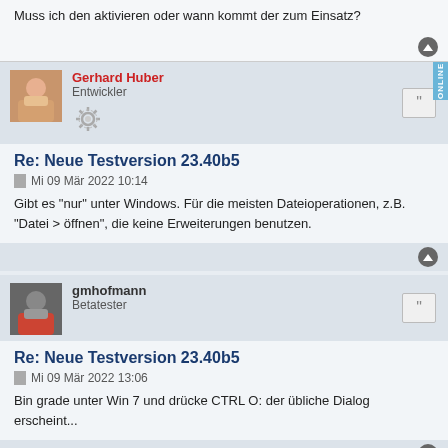Muss ich den aktivieren oder wann kommt der zum Einsatz?
Gerhard Huber
Entwickler
Re: Neue Testversion 23.40b5
Mi 09 Mär 2022 10:14
Gibt es "nur" unter Windows. Für die meisten Dateioperationen, z.B. "Datei > öffnen", die keine Erweiterungen benutzen.
gmhofmann
Betatester
Re: Neue Testversion 23.40b5
Mi 09 Mär 2022 13:06
Bin grade unter Win 7 und drücke CTRL O: der übliche Dialog erscheint...
Gerhard Huber
Entwickler